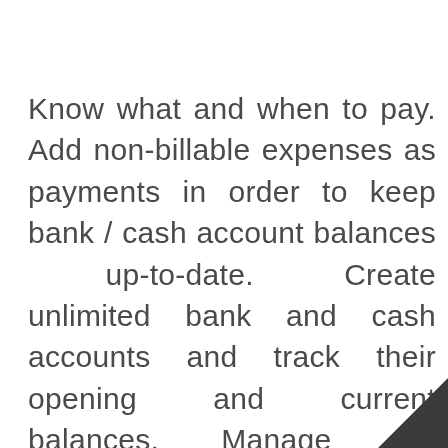Know what and when to pay. Add non-billable expenses as payments in order to keep bank / cash account balances up-to-date. Create unlimited bank and cash accounts and track their opening and current balances. Manage the finances of multiple companies from one admin panel. Assign users to different companies. Set up different names